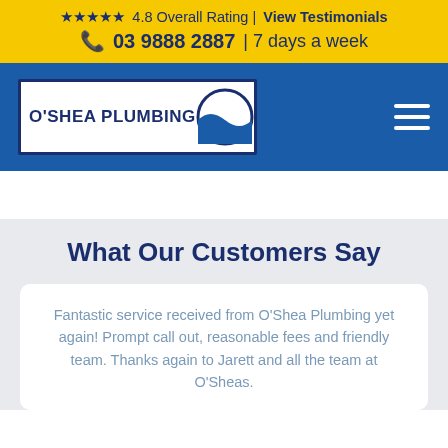★★★★★ 4.8 Overall Rating | View Testimonials  📞 03 9888 2887  | 7 days a week
[Figure (logo): O'Shea Plumbing logo: white rectangle with dark blue text 'O'SHEA PLUMBING' and a circle with blue water wave design]
What Our Customers Say
Fantastic service received from O'Shea Plumbing yet again! Prompt call out, reasonable fees and friendly team. Thanks again to Jarett and all the team at O'Sheas.